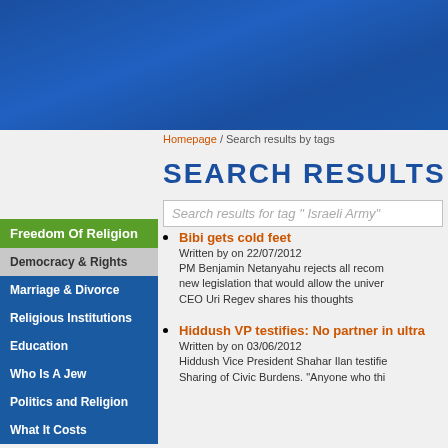[Figure (photo): Blue sky header banner image]
Homepage / Search results by tags
SEARCH RESULTS
Search results for tag " Israeli Army"
Freedom Of Religion
Democracy & Rights
Marriage & Divorce
Religious Institutions
Education
Who Is A Jew
Politics and Religion
What It Costs
Bibi gets cold feet
Written by on 22/07/2012
PM Benjamin Netanyahu rejects all recom... new legislation that would allow the univer... CEO Uri Regev shares his thoughts
Hiddush VP testifies: No partner in ultra...
Written by on 03/06/2012
Hiddush Vice President Shahar Ilan testifie... Sharing of Civic Burdens. "Anyone who thi...